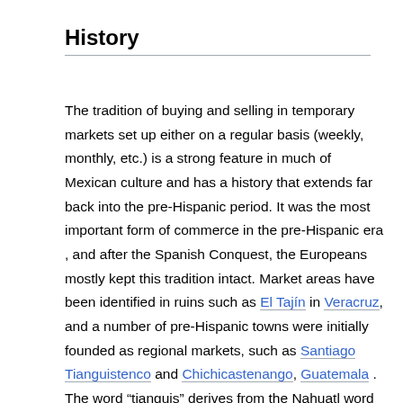History
The tradition of buying and selling in temporary markets set up either on a regular basis (weekly, monthly, etc.) is a strong feature in much of Mexican culture and has a history that extends far back into the pre-Hispanic period. It was the most important form of commerce in the pre-Hispanic era , and after the Spanish Conquest, the Europeans mostly kept this tradition intact. Market areas have been identified in ruins such as El Tajín in Veracruz , and a number of pre-Hispanic towns were initially founded as regional markets, such as Santiago Tianguistenco and Chichicastenango, Guatemala . The word “tianguis” derives from the Nahuatl word “”tianquiztli” with means day market or harvest. The